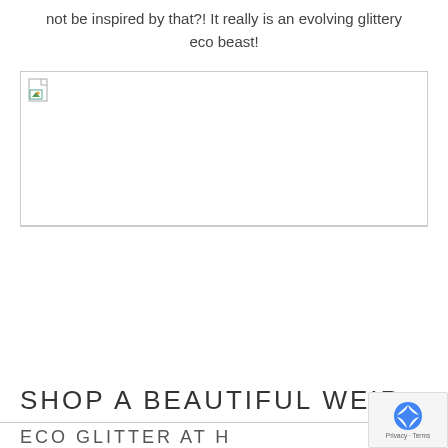not be inspired by that?!  It really is an evolving glittery eco beast!
[Figure (photo): Broken image placeholder with border]
[Figure (other): Empty white space section below horizontal rule]
SHOP A BEAUTIFUL WEIR
ECO GLITTER AT H